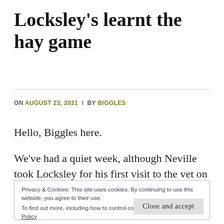Locksley's learnt the hay game
ON AUGUST 23, 2021 / BY BIGGLES
Hello, Biggles here.
We've had a quiet week, although Neville took Locksley for his first visit to the vet on Tuesday.
Privacy & Cookies: This site uses cookies. By continuing to use this website, you agree to their use. To find out more, including how to control cookies, see here: Cookie Policy
Close and accept